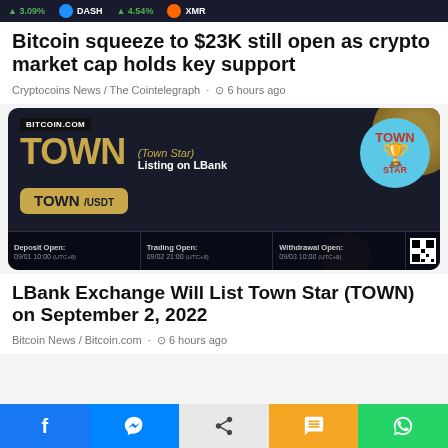▲ 3.09%   DASH   ▲ 4.54%   XMR
Bitcoin squeeze to $23K still open as crypto market cap holds key support
Cryptocoins News / The Cointelegraph · ⊙ 6 hours ago
[Figure (photo): Bitcoin.com promotional banner for TOWN (Town Star) listing on LBank Exchange. Shows TOWN/USDT trading pair with deposit open, trading open, and withdrawal open dates. Includes Town Star logo (trophy cup on blue circle).]
LBank Exchange Will List Town Star (TOWN) on September 2, 2022
Bitcoin News / Bitcoin.com · ⊙ 6 hours ago
f  [messenger]  [share]  [sms]  [whatsapp]